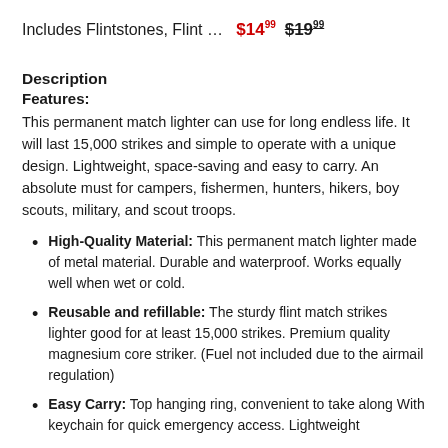Includes Flintstones, Flint … $14.99  $19.99
Description
Features:
This permanent match lighter can use for long endless life. It will last 15,000 strikes and simple to operate with a unique design. Lightweight, space-saving and easy to carry. An absolute must for campers, fishermen, hunters, hikers, boy scouts, military, and scout troops.
High-Quality Material: This permanent match lighter made of metal material. Durable and waterproof. Works equally well when wet or cold.
Reusable and refillable: The sturdy flint match strikes lighter good for at least 15,000 strikes. Premium quality magnesium core striker. (Fuel not included due to the airmail regulation)
Easy Carry: Top hanging ring, convenient to take along With keychain for quick emergency access. Lightweight